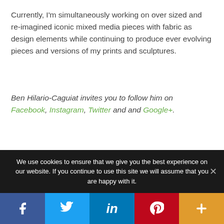Currently, I'm simultaneously working on over sized and re-imagined iconic mixed media pieces with fabric as design elements while continuing to produce ever evolving pieces and versions of my prints and sculptures.
Ben Hilario-Caguiat invites you to follow him on Facebook, Instagram, Twitter and and Google+.
We use cookies to ensure that we give you the best experience on our website. If you continue to use this site we will assume that you are happy with it.